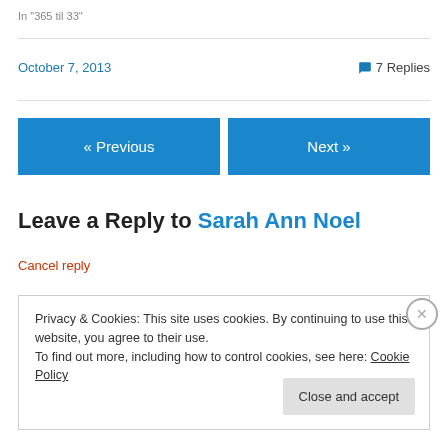In "365 til 33"
October 7, 2013    💬 7 Replies
« Previous
Next »
Leave a Reply to Sarah Ann Noel
Cancel reply
Privacy & Cookies: This site uses cookies. By continuing to use this website, you agree to their use.
To find out more, including how to control cookies, see here: Cookie Policy
Close and accept